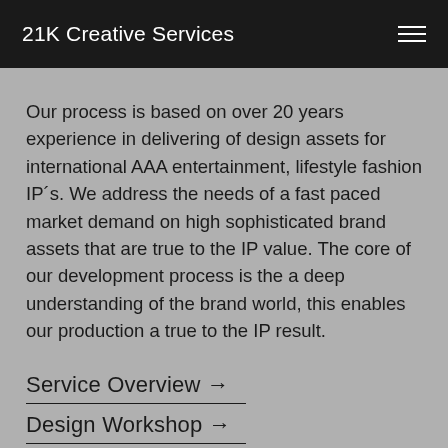21K Creative Services
Our process is based on over 20 years experience in delivering of design assets for international AAA entertainment, lifestyle fashion IP´s. We address the needs of a fast paced market demand on high sophisticated brand assets that are true to the IP value. The core of our development process is the a deep understanding of the brand world, this enables our production a true to the IP result.
Service Overview →
Design Workshop →